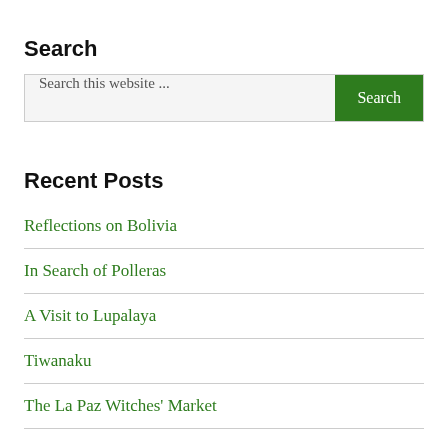Search
[Figure (screenshot): Search bar with placeholder text 'Search this website ...' and a green Search button]
Recent Posts
Reflections on Bolivia
In Search of Polleras
A Visit to Lupalaya
Tiwanaku
The La Paz Witches' Market
Categories